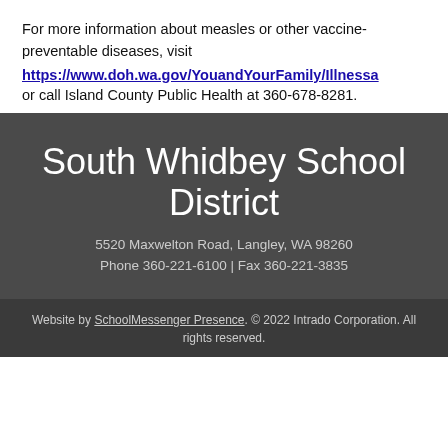For more information about measles or other vaccine-preventable diseases, visit https://www.doh.wa.gov/YouandYourFamily/Illnessa or call Island County Public Health at 360-678-8281.
South Whidbey School District
5520 Maxwelton Road, Langley, WA 98260
Phone 360-221-6100 | Fax 360-221-3835
Website by SchoolMessenger Presence. © 2022 Intrado Corporation. All rights reserved.